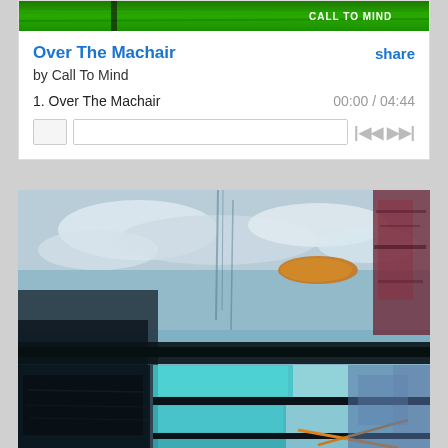[Figure (photo): Green album art banner at top of music player card showing 'Call To Mind' text in white]
Over The Machair
share
by Call To Mind
1.  Over The Machair  00:00 / 04:44
[Figure (photo): Abstract mixed-media artwork showing layered blue sky with clouds, dark bridge/railing structures, cyan rectangles, and an orange diagonal line on the lower portion — album artwork for 'Over The Machair' by Call To Mind]